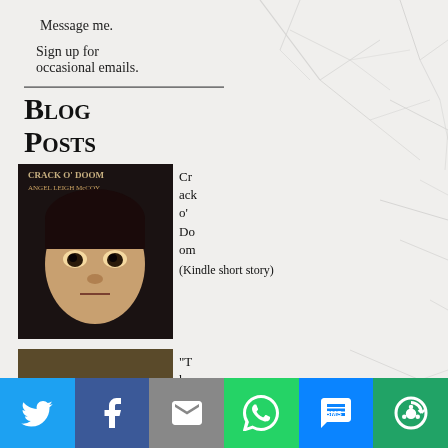Message me.
Sign up for occasional emails.
Blog Posts
[Figure (photo): Book cover for 'Crack o' Doom' by Angel Leigh McCoy, showing a child's face with dark eyes]
Crack o' Doom (Kindle short story)
[Figure (photo): Book cover for 'The Haunting' - a parabolan ghost story, showing two figures in white dresses on a grassy field]
“The Haunting
Twitter | Facebook | Email | WhatsApp | SMS | More